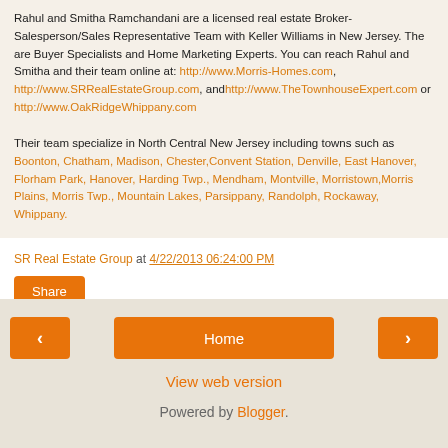Rahul and Smitha Ramchandani are a licensed real estate Broker-Salesperson/Sales Representative Team with Keller Williams in New Jersey. They are Buyer Specialists and Home Marketing Experts. You can reach Rahul and Smitha and their team online at: http://www.Morris-Homes.com, http://www.SRRealEstateGroup.com, and http://www.TheTownhouseExpert.com or http://www.OakRidgeWhippany.com
Their team specialize in North Central New Jersey including towns such as Boonton, Chatham, Madison, Chester, Convent Station, Denville, East Hanover, Florham Park, Hanover, Harding Twp., Mendham, Montville, Morristown, Morris Plains, Morris Twp., Mountain Lakes, Parsippany, Randolph, Rockaway, Whippany.
SR Real Estate Group at 4/22/2013 06:24:00 PM
Share
Home | View web version | Powered by Blogger.